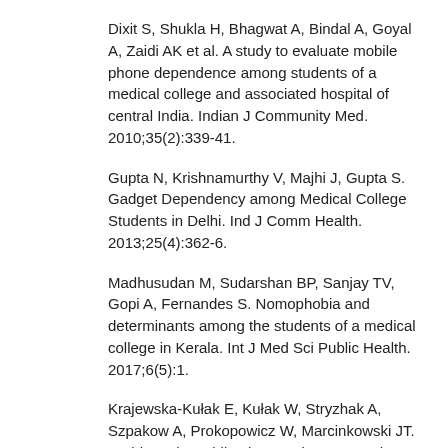Dixit S, Shukla H, Bhagwat A, Bindal A, Goyal A, Zaidi AK et al. A study to evaluate mobile phone dependence among students of a medical college and associated hospital of central India. Indian J Community Med. 2010;35(2):339-41.
Gupta N, Krishnamurthy V, Majhi J, Gupta S. Gadget Dependency among Medical College Students in Delhi. Ind J Comm Health. 2013;25(4):362-6.
Madhusudan M, Sudarshan BP, Sanjay TV, Gopi A, Fernandes S. Nomophobia and determinants among the students of a medical college in Kerala. Int J Med Sci Public Health. 2017;6(5):1.
Krajewska-Kułak E, Kułak W, Stryzhak A, Szpakow A, Prokopowicz W, Marcinkowski JT. Problematic mobile phone using among the Polish and Belarusian University students, a comparative study. Prog Health Sci. 2012;2(1):45-50.
Ahmed S, Pokhrel N, Roy S, Samuel AJ. Impact of